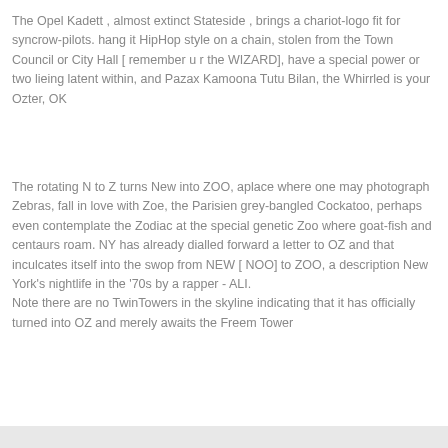The Opel Kadett , almost extinct Stateside , brings a chariot-logo fit for syncrow-pilots. hang it HipHop style on a chain, stolen from the Town Council or City Hall [ remember u r the WIZARD], have a special power or two lieing latent within, and Pazax Kamoona Tutu Bilan, the Whirrled is your Ozter, OK
The rotating N to Z turns New into ZOO, aplace where one may photograph Zebras, fall in love with Zoe, the Parisien grey-bangled Cockatoo, perhaps even contemplate the Zodiac at the special genetic Zoo where goat-fish and centaurs roam. NY has already dialled forward a letter to OZ and that inculcates itself into the swop from NEW [ NOO] to ZOO, a description New York's nightlife in the '70s by a rapper - ALI.
Note there are no TwinTowers in the skyline indicating that it has officially turned into OZ and merely awaits the Freem Tower